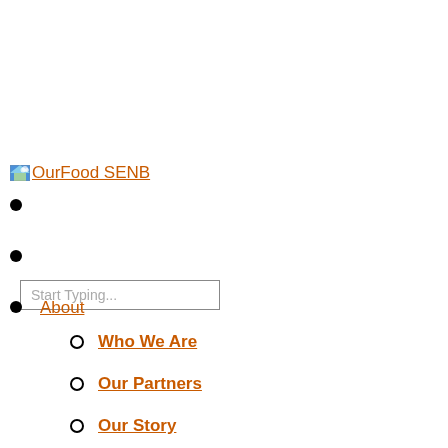Start Typing...
OurFood SENB
About
Who We Are
Our Partners
Our Story
Food Wisdom